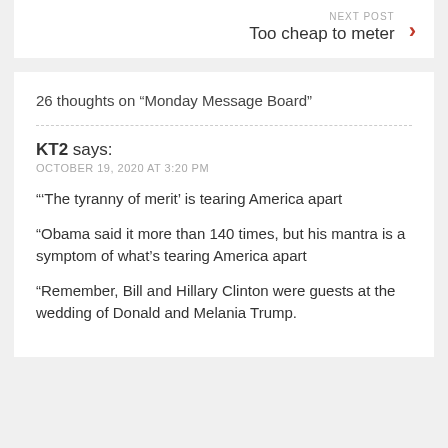NEXT POST  Too cheap to meter
26 thoughts on “Monday Message Board”
KT2 says:
OCTOBER 19, 2020 AT 3:20 PM
“‘The tyranny of merit’ is tearing America apart
“Obama said it more than 140 times, but his mantra is a symptom of what’s tearing America apart
“Remember, Bill and Hillary Clinton were guests at the wedding of Donald and Melania Trump.